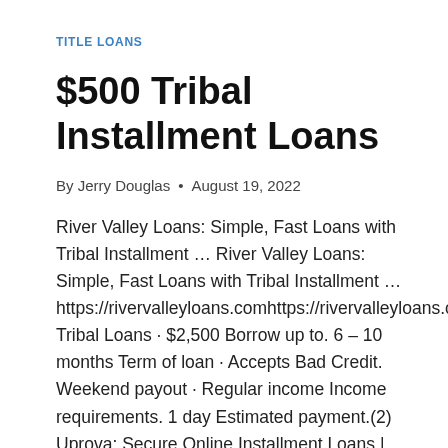TITLE LOANS
$500 Tribal Installment Loans
By Jerry Douglas • August 19, 2022
River Valley Loans: Simple, Fast Loans with Tribal Installment … River Valley Loans: Simple, Fast Loans with Tribal Installment … https://rivervalleyloans.comhttps://rivervalleyloans.com Tribal Loans · $2,500 Borrow up to. 6 – 10 months Term of loan · Accepts Bad Credit. Weekend payout · Regular income Income requirements. 1 day Estimated payment.(2) Uprova: Secure Online Installment Loans |…